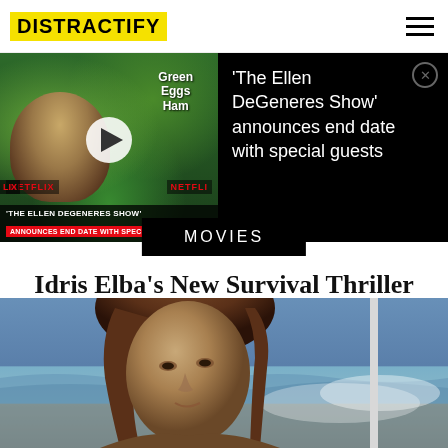DISTRACTIFY
[Figure (screenshot): Video thumbnail showing The Ellen DeGeneres Show Netflix promotional content with play button, and right panel with text: 'The Ellen DeGeneres Show' announces end date with special guests]
MOVIES
Idris Elba's New Survival Thriller Film 'Beast' Filmed in These Loc...
[Figure (photo): Woman with brown hair on a boat with water and sky in background, appears to be a still from the movie Beast]